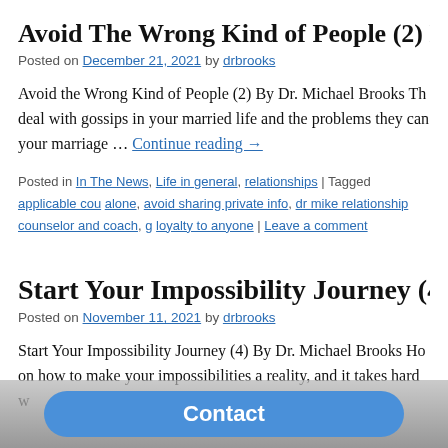Avoid The Wrong Kind of People (2) By D
Posted on December 21, 2021 by drbrooks
Avoid the Wrong Kind of People (2) By Dr. Michael Brooks Th deal with gossips in your married life and the problems they can your marriage … Continue reading →
Posted in In The News, Life in general, relationships | Tagged applicable cou alone, avoid sharing private info, dr mike relationship counselor and coach, g loyalty to anyone | Leave a comment
Start Your Impossibility Journey (4)
Posted on November 11, 2021 by drbrooks
Start Your Impossibility Journey (4) By Dr. Michael Brooks Ho on how to make your impossibilities a reality, and it takes hard w
Contact